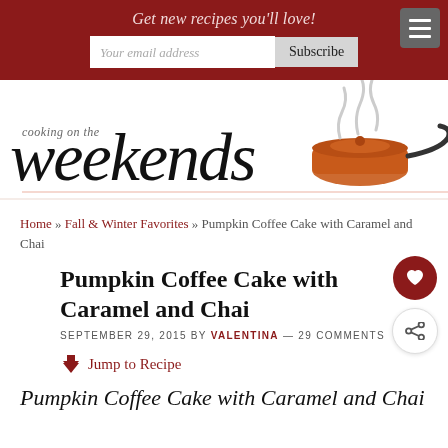Get new recipes you'll love!
[Figure (screenshot): Cooking on the Weekends blog logo with illustrated orange pot]
Home » Fall & Winter Favorites » Pumpkin Coffee Cake with Caramel and Chai
Pumpkin Coffee Cake with Caramel and Chai
SEPTEMBER 29, 2015 BY VALENTINA — 29 COMMENTS
Jump to Recipe
Pumpkin Coffee Cake with Caramel and Chai